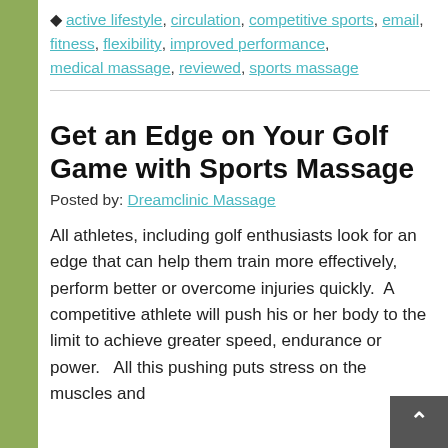active lifestyle, circulation, competitive sports, email, fitness, flexibility, improved performance, medical massage, reviewed, sports massage
Get an Edge on Your Golf Game with Sports Massage
Posted by: Dreamclinic Massage
All athletes, including golf enthusiasts look for an edge that can help them train more effectively, perform better or overcome injuries quickly.  A competitive athlete will push his or her body to the limit to achieve greater speed, endurance or power.   All this pushing puts stress on the muscles and